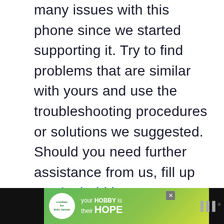many issues with this phone since we started supporting it. Try to find problems that are similar with yours and use the troubleshooting procedures or solutions we suggested. Should you need further assistance from us, fill up our Android issues questionnaire and hit submit. Don't worry, it's free.
[Figure (other): Advertisement placeholder box with label ADVERTISEMENT]
[Figure (other): Bottom banner advertisement: cookies for kids cancer - your HOBBY is their HOPE, with close button and weather icon]